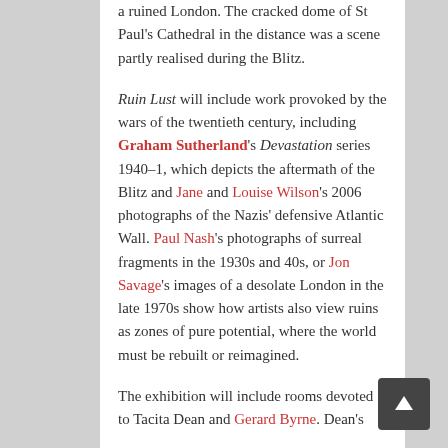a ruined London. The cracked dome of St Paul's Cathedral in the distance was a scene partly realised during the Blitz.
Ruin Lust will include work provoked by the wars of the twentieth century, including Graham Sutherland's Devastation series 1940–1, which depicts the aftermath of the Blitz and Jane and Louise Wilson's 2006 photographs of the Nazis' defensive Atlantic Wall. Paul Nash's photographs of surreal fragments in the 1930s and 40s, or Jon Savage's images of a desolate London in the late 1970s show how artists also view ruins as zones of pure potential, where the world must be rebuilt or reimagined.
The exhibition will include rooms devoted to Tacita Dean and Gerard Byrne. Dean's